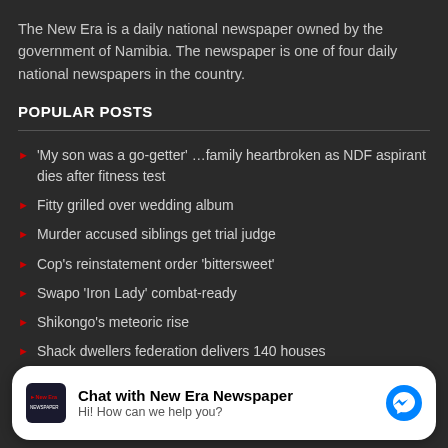The New Era is a daily national newspaper owned by the government of Namibia. The newspaper is one of four daily national newspapers in the country.
POPULAR POSTS
'My son was a go-getter' …family heartbroken as NDF aspirant dies after fitness test
Fitty grilled over wedding album
Murder accused siblings get trial judge
Cop's reinstatement order 'bittersweet'
Swapo 'Iron Lady' combat-ready
Shikongo's meteoric rise
Shack dwellers federation delivers 140 houses
186 cell phones smuggled into jails
[Figure (screenshot): Facebook Messenger chat widget with New Era Newspaper logo, title 'Chat with New Era Newspaper', subtitle 'Hi! How can we help you?' and a blue Messenger icon button]